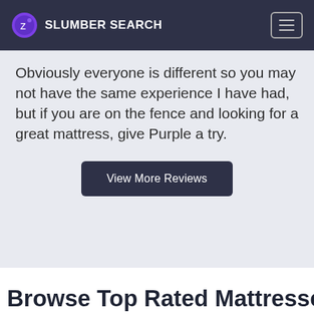SLUMBER SEARCH
Obviously everyone is different so you may not have the same experience I have had, but if you are on the fence and looking for a great mattress, give Purple a try.
View More Reviews
Browse Top Rated Mattresses